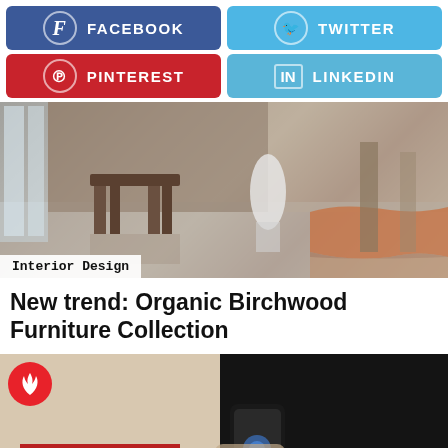[Figure (infographic): Social share buttons: Facebook (dark blue), Twitter (light blue), Pinterest (red), LinkedIn (light blue), each with icon and label]
[Figure (photo): Interior design photo showing wooden furniture, stools, and organic wood slab on concrete floor]
Interior Design
New trend: Organic Birchwood Furniture Collection
[Figure (photo): Person holding a smartphone, partially visible, with red and striped objects in foreground. Fire icon badge top left.]